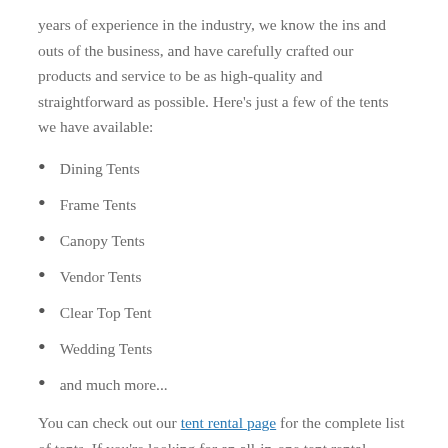years of experience in the industry, we know the ins and outs of the business, and have carefully crafted our products and service to be as high-quality and straightforward as possible. Here’s just a few of the tents we have available:
Dining Tents
Frame Tents
Canopy Tents
Vendor Tents
Clear Top Tent
Wedding Tents
and much more...
You can check out our tent rental page for the complete list of tents. If you’re looking for an all-in-one tent rental package, then you’ll be happy to hear that we offer a wide variety of packages for our frame